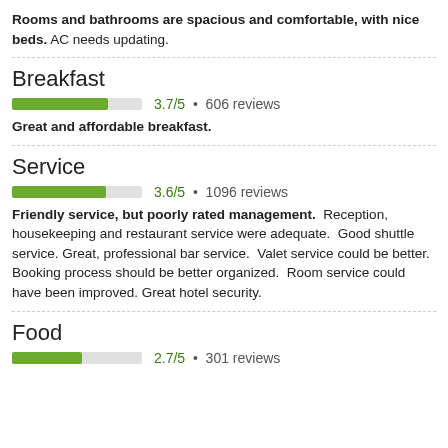Rooms and bathrooms are spacious and comfortable, with nice beds. AC needs updating.
[Figure (bar-chart): Horizontal rating bar for Breakfast: 3.7/5, 606 reviews]
Great and affordable breakfast.
[Figure (bar-chart): Horizontal rating bar for Service: 3.6/5, 1096 reviews]
Friendly service, but poorly rated management. Reception, housekeeping and restaurant service were adequate. Good shuttle service. Great, professional bar service. Valet service could be better. Booking process should be better organized. Room service could have been improved. Great hotel security.
[Figure (bar-chart): Horizontal rating bar for Food: 2.7/5, 301 reviews]